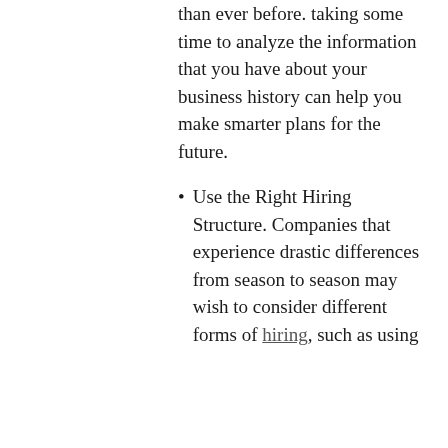than ever before. taking some time to analyze the information that you have about your business history can help you make smarter plans for the future.
Use the Right Hiring Structure. Companies that experience drastic differences from season to season may wish to consider different forms of hiring, such as using